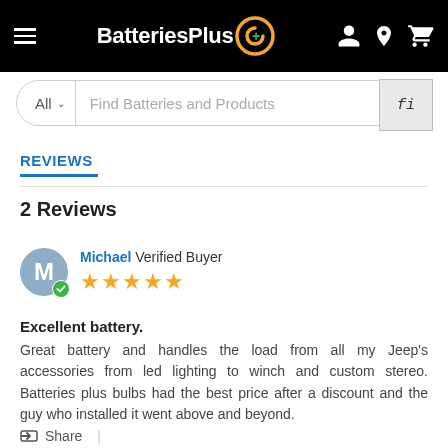BatteriesPlus - navigation header with logo, menu, and icons
[Figure (screenshot): Search bar with 'All' dropdown and 'Find Batteries and Products' placeholder text, with search button]
REVIEWS
2 Reviews
Michael  Verified Buyer  ★★★★★
Excellent battery.
Great battery and handles the load from all my Jeep's accessories from led lighting to winch and custom stereo. Batteries plus bulbs had the best price after a discount and the guy who installed it went above and beyond.
Share